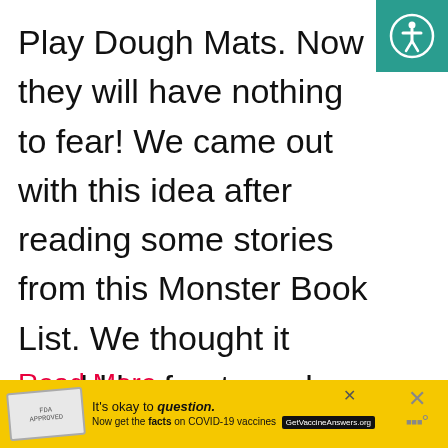[Figure (logo): Teal square with white accessibility/person icon in top-right corner]
Play Dough Mats. Now they will have nothing to fear! We came out with this idea after reading some stories from this Monster Book List. We thought it would be fun to make our …
Read More »
[Figure (infographic): Yellow advertisement banner: stamp graphic on left, text 'It's okay to question. Now get the facts on COVID-19 vaccines GetVaccineAnswers.org', close buttons on right]